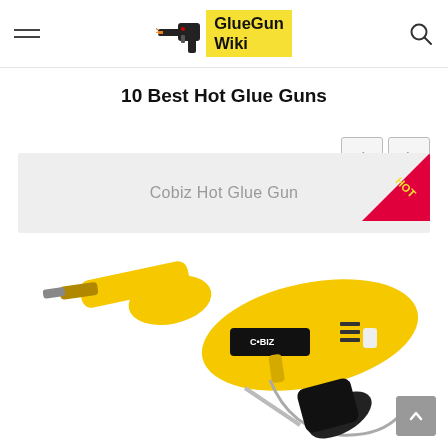GlueGun Wiki - navigation header with hamburger menu, logo, and search icon
10 Best Hot Glue Guns
Cobiz Hot Glue Gun
[Figure (photo): Yellow Cobiz hot glue gun product photo on white background]